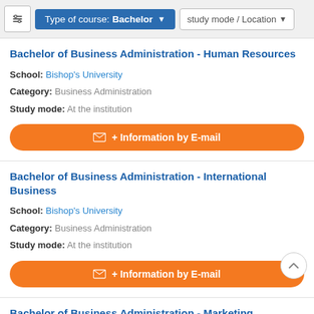Type of course: Bachelor | study mode / Location
Bachelor of Business Administration - Human Resources
School: Bishop's University
Category: Business Administration
Study mode: At the institution
+ Information by E-mail
Bachelor of Business Administration - International Business
School: Bishop's University
Category: Business Administration
Study mode: At the institution
+ Information by E-mail
Bachelor of Business Administration - Marketing